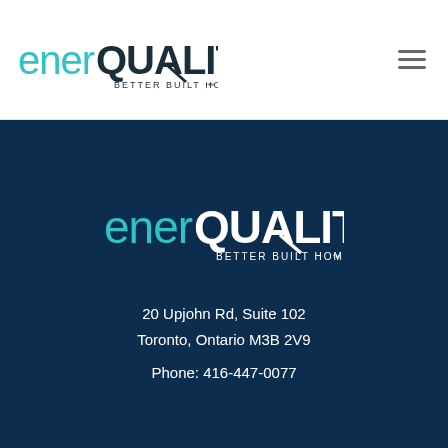[Figure (logo): enerQUALITY Better Built Homes logo in header, teal and dark text on white background]
[Figure (logo): enerQUALITY Better Built Homes logo in footer, teal and white text on dark navy background]
20 Upjohn Rd, Suite 102
Toronto, Ontario M3B 2V9

Phone: 416-447-0077